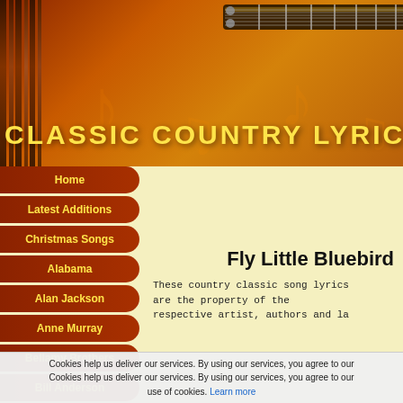[Figure (illustration): Classic Country Lyrics website header banner with orange/brown gradient background, vertical decorative lines on the left, music note decorations, guitar image in top right, and the site title 'CLASSIC COUNTRY LYRICS' in yellow text]
CLASSIC COUNTRY LYRICS
Home
Latest Additions
Christmas Songs
Alabama
Alan Jackson
Anne Murray
Bellamy Brothers
Bill Anderson
Billy Walker
Bob Wills
Fly Little Bluebird
These country classic song lyrics are the property of the respective artist, authors and la
Cookies help us deliver our services. By using our services, you agree to our Cookies help us deliver our services. By using our services, you agree to our use of cookies. Learn more